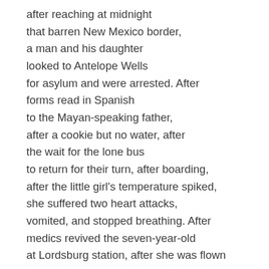after reaching at midnight
that barren New Mexico border,
a man and his daughter
looked to Antelope Wells
for asylum and were arrested. After
forms read in Spanish
to the Mayan-speaking father,
after a cookie but no water, after
the wait for the lone bus
to return for their turn, after boarding,
after the little girl's temperature spiked,
she suffered two heart attacks,
vomited, and stopped breathing. After
medics revived the seven-year-old
at Lordsburg station, after she was flown